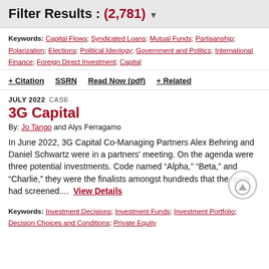Filter Results : (2,781)
Keywords: Capital Flows; Syndicated Loans; Mutual Funds; Partisanship; Polarization; Elections; Political Ideology; Government and Politics; International Finance; Foreign Direct Investment; Capital
+ Citation   SSRN   Read Now (pdf)   + Related
JULY 2022  CASE
3G Capital
By: Jo Tango and Alys Ferragamo
In June 2022, 3G Capital Co-Managing Partners Alex Behring and Daniel Schwartz were in a partners' meeting. On the agenda were three potential investments. Code named “Alpha,” “Beta,” and “Charlie,” they were the finalists amongst hundreds that the team had screened....  View Details
Keywords: Investment Decisions; Investment Funds; Investment Portfolio; Decision Choices and Conditions; Private Equity